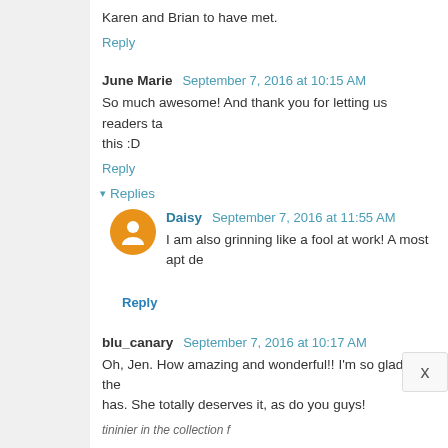Karen and Brian to have met.
Reply
June Marie  September 7, 2016 at 10:15 AM
So much awesome! And thank you for letting us readers ta... this :D
Reply
▾ Replies
Daisy  September 7, 2016 at 11:55 AM
I am also grinning like a fool at work! A most apt de...
Reply
blu_canary  September 7, 2016 at 10:17 AM
Oh, Jen. How amazing and wonderful!! I'm so glad all the... has. She totally deserves it, as do you guys!